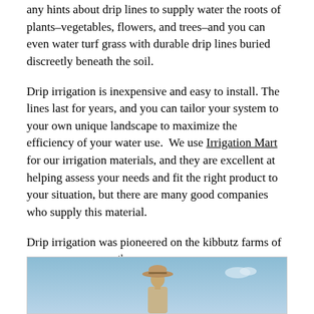any hints about drip lines to supply water the roots of plants–vegetables, flowers, and trees–and you can even water turf grass with durable drip lines buried discreetly beneath the soil.
Drip irrigation is inexpensive and easy to install. The lines last for years, and you can tailor your system to your own unique landscape to maximize the efficiency of your water use. We use Irrigation Mart for our irrigation materials, and they are excellent at helping assess your needs and fit the right product to your situation, but there are many good companies who supply this material.
Drip irrigation was pioneered on the kibbutz farms of Israel in the late 20th Century. Israel, a tiny state in the desert, possessed limited land and water resources for agriculture, and Israel was surrounded by enemies and locked in a life-or-death struggle for national survival.
Israeli farmers were forced to innovate–to get the most from every drop of water. Drip lines helped transform the barren landscape of Israel into a food oasis, and Israel became agriculturally self-sufficient.
[Figure (photo): A person wearing a wide-brimmed hat viewed from behind against a blue sky background]